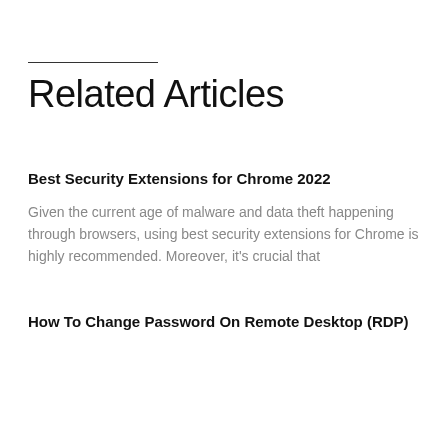Related Articles
Best Security Extensions for Chrome 2022
Given the current age of malware and data theft happening through browsers, using best security extensions for Chrome is highly recommended. Moreover, it's crucial that
How To Change Password On Remote Desktop (RDP)